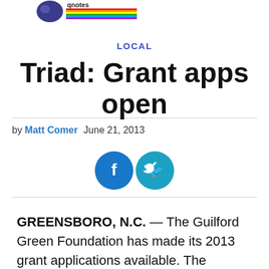[Logo: QNotes / LGBT publication header]
LOCAL
Triad: Grant apps open
by Matt Comer  June 21, 2013
[Figure (other): Social share buttons: Facebook and Twitter circular icons]
GREENSBORO, N.C. — The Guilford Green Foundation has made its 2013 grant applications available. The applications are used to apply for the foundation's community grants, given each